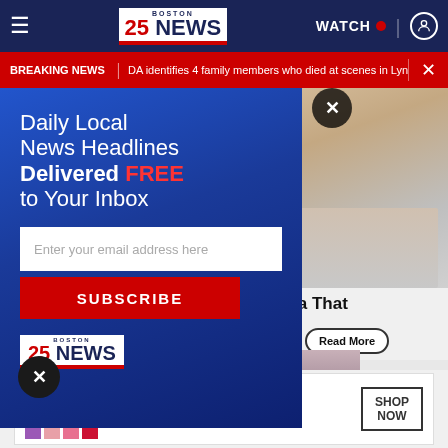Boston 25 News navigation bar with hamburger menu, logo, WATCH button, and profile icon
BREAKING NEWS | DA identifies 4 family members who died at scenes in Lynn
[Figure (screenshot): Background content showing a photo of eggs/camera and partial article headline 'ty Camera That' with a Read More button]
[Figure (screenshot): Modal popup with blue gradient background promoting daily local news email newsletter. Text: 'Daily Local News Headlines Delivered FREE to Your Inbox' with email input field and SUBSCRIBE button, and Boston 25 News logo]
[Figure (screenshot): Bottom advertisement banner showing MAC lipsticks with SHOP NOW call to action]